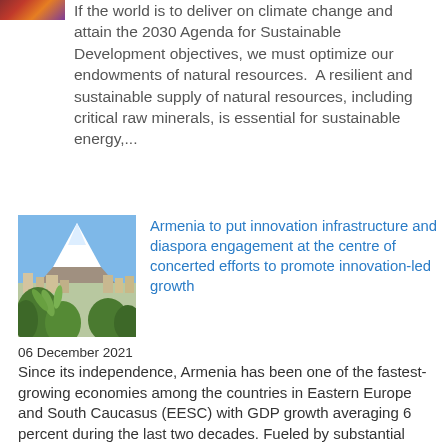If the world is to deliver on climate change and attain the 2030 Agenda for Sustainable Development objectives, we must optimize our endowments of natural resources.  A resilient and sustainable supply of natural resources, including critical raw minerals, is essential for sustainable energy,...
[Figure (photo): A photo showing a snowy mountain peak (Ararat) in the background with a city and green foliage/plants in the foreground]
Armenia to put innovation infrastructure and diaspora engagement at the centre of concerted efforts to promote innovation-led growth
06 December 2021
Since its independence, Armenia has been one of the fastest-growing economies among the countries in Eastern Europe and South Caucasus (EESC) with GDP growth averaging 6 percent during the last two decades. Fueled by substantial reforms and increased foreign investment, the country embarked on a...